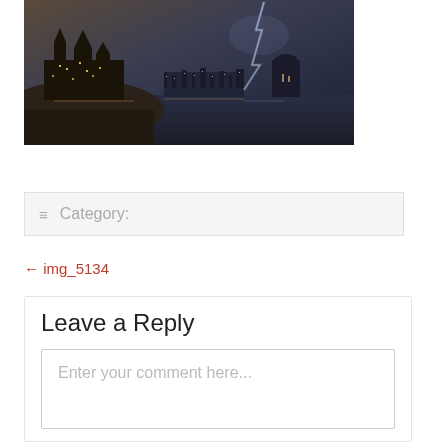[Figure (photo): Night cityscape photo showing illuminated buildings (appears to be Parliament Hill, Ottawa) reflected on water, with dramatic stormy sky and lightning in the background]
≡ Category:
← img_5134
Leave a Reply
Enter your comment here...